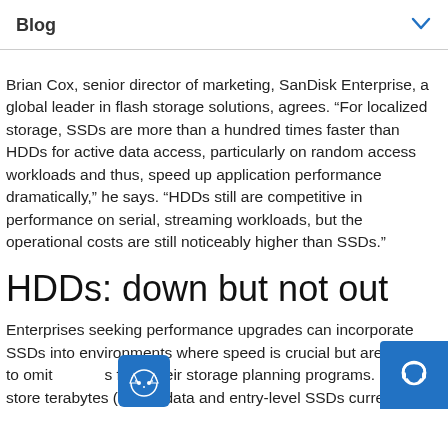Blog
Brian Cox, senior director of marketing, SanDisk Enterprise, a global leader in flash storage solutions, agrees. “For localized storage, SSDs are more than a hundred times faster than HDDs for active data access, particularly on random access workloads and thus, speed up application performance dramatically,” he says. “HDDs still are competitive in performance on serial, streaming workloads, but the operational costs are still noticeably higher than SSDs.”
HDDs: down but not out
Enterprises seeking performance upgrades can incorporate SSDs into environments where speed is crucial but are unlikely to omit HDDs from their storage planning programs. HDDs can store terabytes (TB) of data and entry-level SSDs currently top